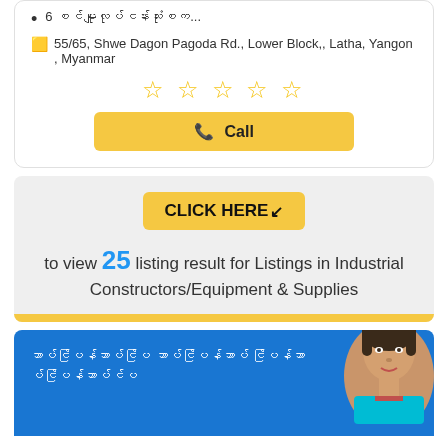6 စင်မျူလုပ်ငန်းသုံးစက...
55/65, Shwe Dagon Pagoda Rd., Lower Block,, Latha, Yangon , Myanmar
[Figure (other): 5 empty gold star rating]
Call
[Figure (infographic): Click here button with cursor icon, text: to view 25 listing result for Listings in Industrial Constructors/Equipment & Supplies]
Myanmar text on blue banner with person photo